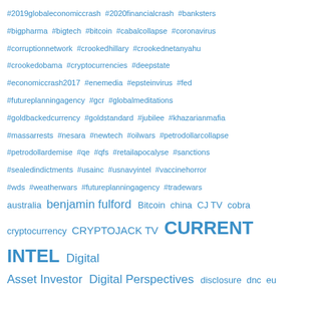[Figure (infographic): Tag cloud with hashtags and keywords related to finance, conspiracy theories, and alternative media. Terms displayed in various sizes in blue color on white background. Largest term is 'finance'. Other prominent terms include 'benjamin fulford', 'CURRENT INTEL', 'Digital Asset Investor', 'Digital Perspectives', 'CRYPTOJACK TV'. Smaller hashtags include #2019globaleconomiccrash, #2020financialcrash, #banksters, #bigpharma, #bigtech, #bitcoin, #cabalcollapse, #coronavirus, #corruptionnetwork, #crookedhillary, #crookednetanyahu, #crookedobama, #cryptocurrencies, #deepstate, #economiccrash2017, #enemedia, #epsteinvirus, #fed, #futureplanningagency, #gcr, #globalmeditations, #goldbackedcurrency, #goldstandard, #jubilee, #khazarianmafia, #massarrests, #nesara, #newtech, #oilwars, #petrodollarcollapse, #petrodollardemise, #qe, #qfs, #retailapocalyse, #sanctions, #sealedindictments, #usainc, #usnavyintel, #vaccinehorror, #wds, #weatherwars, #futureplanningagency, #tradewars, australia, benjamin fulford, Bitcoin, china, CJ TV, cobra, cryptocurrency, ExtraVOD, fed, dnc, eu, disclosure]